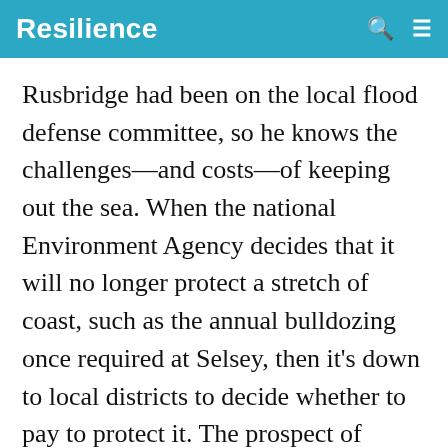Resilience
Rusbridge had been on the local flood defense committee, so he knows the challenges—and costs—of keeping out the sea. When the national Environment Agency decides that it will no longer protect a stretch of coast, such as the annual bulldozing once required at Selsey, then it's down to local districts to decide whether to pay to protect it. The prospect of shouldering that financial burden locally